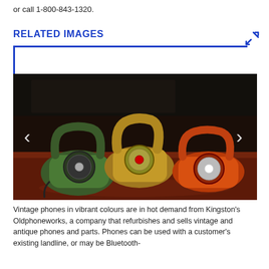or call 1-800-843-1320.
RELATED IMAGES
[Figure (photo): Three vintage rotary dial telephones on a dark wood surface: a green one on the left, a gold/brass one in the center, and an orange one on the right. The background is dark. Navigation arrows are visible on the left and right sides of the image.]
Vintage phones in vibrant colours are in hot demand from Kingston's Oldphoneworks, a company that refurbishes and sells vintage and antique phones and parts. Phones can be used with a customer's existing landline, or may be Bluetooth-